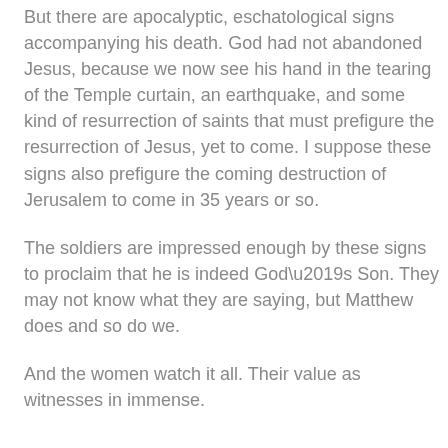But there are apocalyptic, eschatological signs accompanying his death. God had not abandoned Jesus, because we now see his hand in the tearing of the Temple curtain, an earthquake, and some kind of resurrection of saints that must prefigure the resurrection of Jesus, yet to come. I suppose these signs also prefigure the coming destruction of Jerusalem to come in 35 years or so.
The soldiers are impressed enough by these signs to proclaim that he is indeed God’s Son. They may not know what they are saying, but Matthew does and so do we.
And the women watch it all. Their value as witnesses in immense.